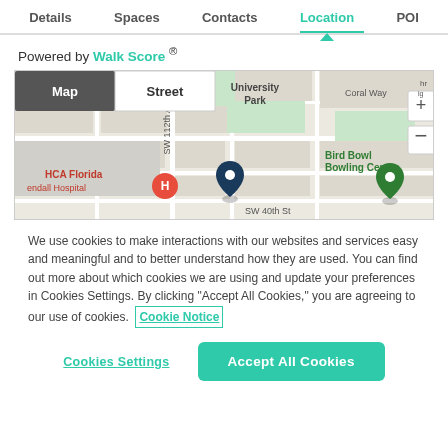Details   Spaces   Contacts   Location   POI
Powered by Walk Score ®
[Figure (map): Google-style street map showing University Park area near SW 112th Ave and SW 40th St, with markers for HCA Florida Kendall Hospital and Bird Bowl Bowling Center, plus map/street toggle and zoom controls]
We use cookies to make interactions with our websites and services easy and meaningful and to better understand how they are used. You can find out more about which cookies we are using and update your preferences in Cookies Settings. By clicking "Accept All Cookies," you are agreeing to our use of cookies.  Cookie Notice
Cookies Settings
Accept All Cookies